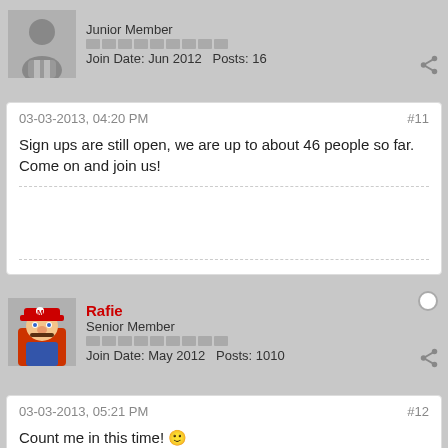Junior Member
Join Date: Jun 2012   Posts: 16
03-03-2013, 04:20 PM
#11
Sign ups are still open, we are up to about 46 people so far. Come on and join us!
Rafie
Senior Member
Join Date: May 2012   Posts: 1010
03-03-2013, 05:21 PM
#12
Count me in this time! 🙂
PSN ID- RayCrocheron82
Gamertag- RAFIE82